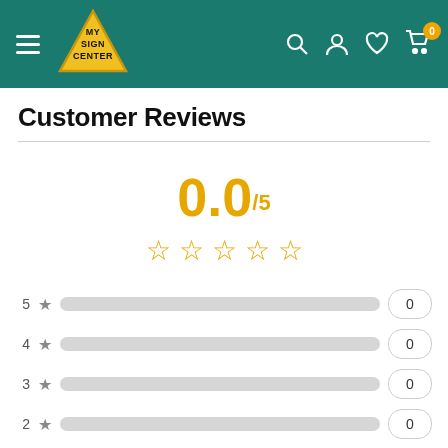[Figure (logo): My Sign Center logo: yellow triangle with 'MY SIGN CENTER' text inside, on a teal header bar with hamburger menu, search, user, heart, and cart icons]
Customer Reviews
0.0/5 with 5 empty stars
| Stars | Icon | Bar | Count |
| --- | --- | --- | --- |
| 5 | ★ |  | 0 |
| 4 | ★ |  | 0 |
| 3 | ★ |  | 0 |
| 2 | ★ |  | 0 |